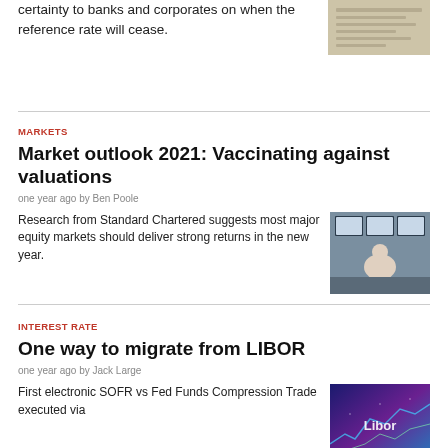certainty to banks and corporates on when the reference rate will cease.
[Figure (photo): Document or paper with printed text, partially visible at top right]
MARKETS
Market outlook 2021: Vaccinating against valuations
one year ago by Ben Poole
Research from Standard Chartered suggests most major equity markets should deliver strong returns in the new year.
[Figure (photo): Person sitting at a trading desk with multiple monitors showing financial data]
INTEREST RATE
One way to migrate from LIBOR
one year ago by Jack Large
First electronic SOFR vs Fed Funds Compression Trade executed via
[Figure (photo): Digital financial chart with Libor text overlay]